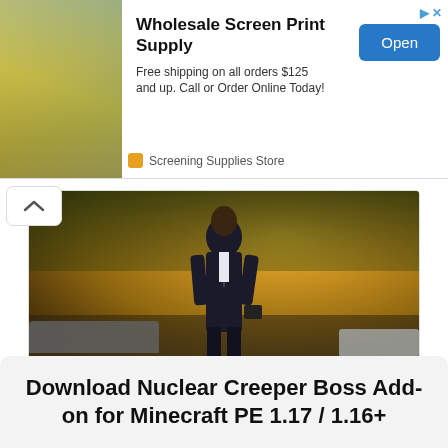[Figure (photo): Advertisement banner for Wholesale Screen Print Supply showing a person in yellow shirt with screen printing equipment. Store name: Screening Supplies Store.]
Wholesale Screen Print Supply
Free shipping on all orders $125 and up. Call or Order Online Today!
Screening Supplies Store
[Figure (photo): Advertisement for Cooley Law School Corporate Law & Finance LLM program showing a professional Black man in a suit walking on a city street with golden bokeh background and cars.]
Corporate Law & Finance LLM
Learn from actively practicing litigation and transactional business law professionals.
Cooley Law School
Download Nuclear Creeper Boss Add-on for Minecraft PE 1.17 / 1.16+